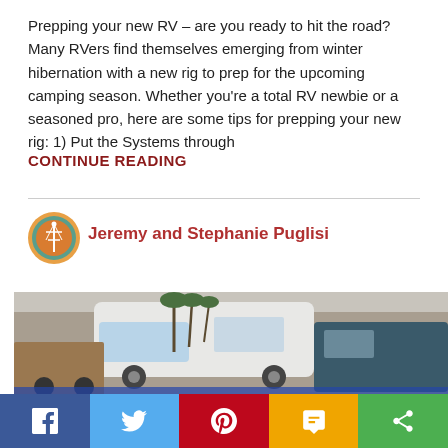Prepping your new RV – are you ready to hit the road? Many RVers find themselves emerging from winter hibernation with a new rig to prep for the upcoming camping season. Whether you're a total RV newbie or a seasoned pro, here are some tips for prepping your new rig: 1) Put the Systems through
CONTINUE READING
[Figure (logo): Circular logo/avatar with an antenna tower icon and orange/teal coloring for Jeremy and Stephanie Puglisi]
Jeremy and Stephanie Puglisi
[Figure (photo): Outdoor photo of RVs and motorhomes parked in a lot with palm trees in the background]
[Figure (infographic): Social sharing bar at bottom with Facebook, Twitter, Pinterest, SMS, and share icons]